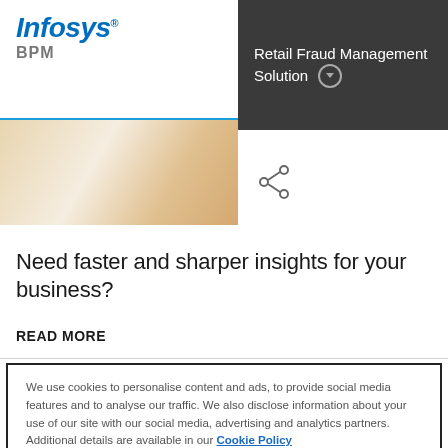Infosys BPM
Retail Fraud Management Solution
[Figure (photo): Partial view of a document or envelope on a wooden surface with warm tones]
Need faster and sharper insights for your business?
READ MORE
We use cookies to personalise content and ads, to provide social media features and to analyse our traffic. We also disclose information about your use of our site with our social media, advertising and analytics partners. Additional details are available in our Cookie Policy
Choose Cookies | Accept All Cookies